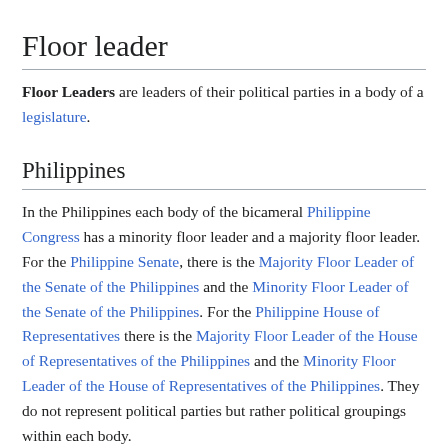Floor leader
Floor Leaders are leaders of their political parties in a body of a legislature.
Philippines
In the Philippines each body of the bicameral Philippine Congress has a minority floor leader and a majority floor leader. For the Philippine Senate, there is the Majority Floor Leader of the Senate of the Philippines and the Minority Floor Leader of the Senate of the Philippines. For the Philippine House of Representatives there is the Majority Floor Leader of the House of Representatives of the Philippines and the Minority Floor Leader of the House of Representatives of the Philippines. They do not represent political parties but rather political groupings within each body.
United States Congress
Senate